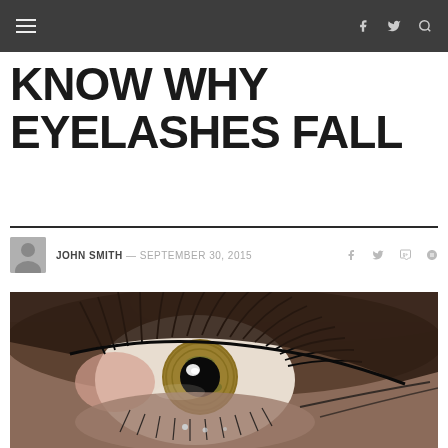Navigation bar with hamburger menu and social icons (f, twitter, search)
KNOW WHY EYELASHES FALL
JOHN SMITH — SEPTEMBER 30, 2015
[Figure (photo): Close-up macro photograph of a human eye with eyelashes, showing detailed iris with green/amber colors and black pupil with a light reflection]